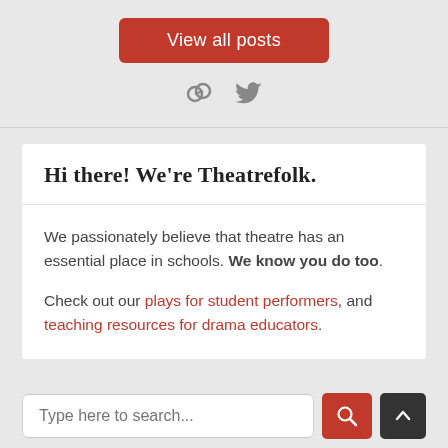View all posts
[Figure (other): Social icons: link/share icon and Twitter bird icon in gray]
Hi there! We're Theatrefolk.
We passionately believe that theatre has an essential place in schools. We know you do too.
Check out our plays for student performers, and teaching resources for drama educators.
Type here to search...